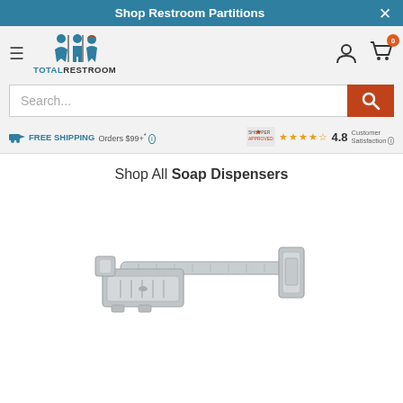Shop Restroom Partitions
[Figure (logo): TotalRestroom logo with male and female figures and construction worker icon]
Search...
FREE SHIPPING Orders $99+* i
4.8 Customer Satisfaction i
Shop All Soap Dispensers
[Figure (photo): Chrome soap dish with grab bar accessory combination, silver/brushed chrome finish]